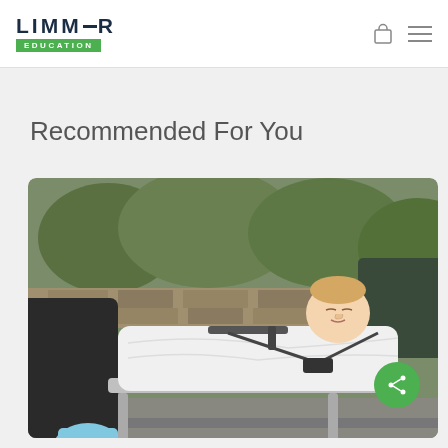[Figure (logo): Limmer Education logo with dark navy text and green 'EDUCATION' bar]
Recommended For You
[Figure (photo): A young child lying on a stretcher covered with a white blanket, being attended by EMS workers wearing blue gloves, outdoors with greenery in background. A green share button is visible in the bottom right corner of the image.]